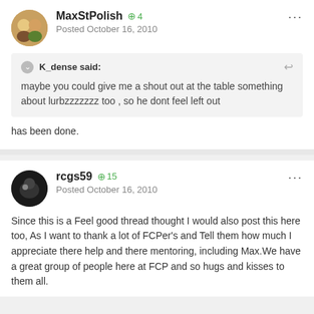MaxStPolish +4 Posted October 16, 2010
K_dense said: maybe you could give me a shout out at the table something about lurbzzzzzzz too , so he dont feel left out
has been done.
rcgs59 +15 Posted October 16, 2010
Since this is a Feel good thread thought I would also post this here too, As I want to thank a lot of FCPer's and Tell them how much I appreciate there help and there mentoring, including Max.We have a great group of people here at FCP and so hugs and kisses to them all.